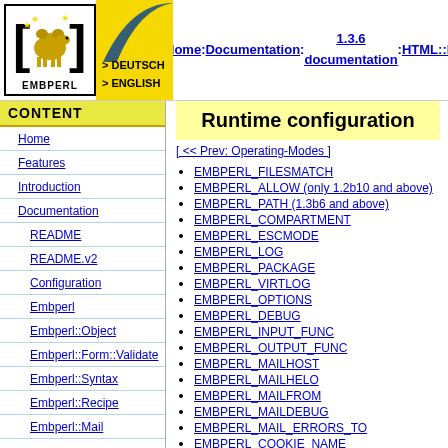[Figure (logo): Embperl logo with camel in brackets, yellow banner with DEUTSCH and ENGLISH links, and arc decoration]
Home : Documentation : 1.3.6 documentation : HTML::Embperl
CONTENT
Home
Features
Introduction
Documentation
README
README.v2
Configuration
Embperl
Embperl::Object
Embperl::Form::Validate
Embperl::Syntax
Embperl::Recipe
Embperl::Mail
Runtime configuration
[<< Prev: Operating-Modes ]
EMBPERL_FILESMATCH
EMBPERL_ALLOW (only 1.2b10 and above)
EMBPERL_PATH (1.3b6 and above)
EMBPERL_COMPARTMENT
EMBPERL_ESCMODE
EMBPERL_LOG
EMBPERL_PACKAGE
EMBPERL_VIRTLOG
EMBPERL_OPTIONS
EMBPERL_DEBUG
EMBPERL_INPUT_FUNC
EMBPERL_OUTPUT_FUNC
EMBPERL_MAILHOST
EMBPERL_MAILHELO
EMBPERL_MAILFROM
EMBPERL_MAILDEBUG
EMBPERL_MAIL_ERRORS_TO
EMBPERL_COOKIE_NAME
EMBPERL_COOKIE_DOMAIN